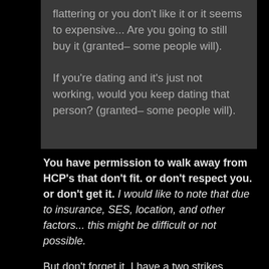flattering or you don't like it or it seems to expensive... Are you going to still buy it (granted– some people will).

If you're dating and it's just not working, would you keep dating that person? (granted– some people will).
You have permission to walk away from HCP's that don't fit. or don't respect you. or don't get it. I would like to note that due to insurance, SES, location, and other factors... this might be difficult or not possible.
But don't forget it. I have a two strikes you're out rule, but most likely.... your gut will tell you round 1.